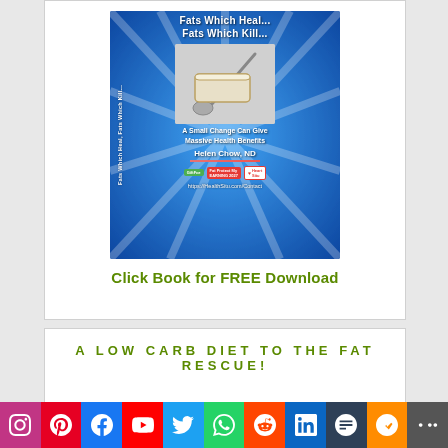[Figure (illustration): Book cover for 'Fats Which Heal... Fats Which Kill...' by Helen Chow, ND. Blue radiant background with butter/spoon image. Subtitle: 'A Small Change Can Give Massive Health Benefits'. URL: https://HealthSitu.com/Contact]
Click Book for FREE Download
A LOW CARB DIET TO THE FAT RESCUE!